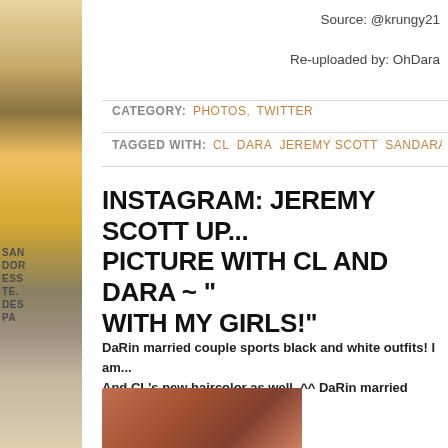[Figure (photo): Left sidebar with layered fashion photo collage in gold, brown, and teal tones with text overlays]
Source: @krungy21
Re-uploaded by: OhDara
CATEGORY: PHOTOS, TWITTER
TAGGED WITH: CL DARA JEREMY SCOTT SANDARA SA...
INSTAGRAM: JEREMY SCOTT UP... PICTURE WITH CL AND DARA ~ "“ WITH MY GIRLS!"
DaRin married couple sports black and white outfits! I am... And CL's new haircolor as well. ^^ DaRin married couple... Kekekeke! ❤
[Figure (photo): Partial photo at bottom showing persons in warm-toned setting]